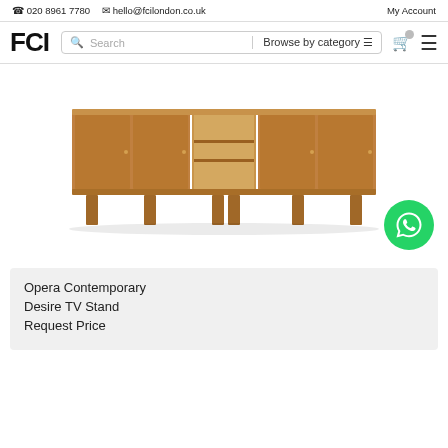020 8961 7780  hello@fcilondon.co.uk  My Account
[Figure (logo): FCI logo with search bar and navigation icons including cart and hamburger menu]
[Figure (photo): Opera Contemporary Desire TV Stand — a long low wooden sideboard with four doors, open centre shelving unit, and tapered legs in walnut finish]
[Figure (other): WhatsApp contact button — green circle with white WhatsApp phone icon]
Opera Contemporary Desire TV Stand
Request Price